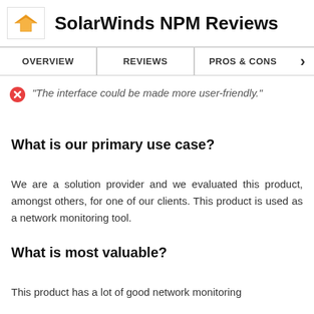SolarWinds NPM Reviews
OVERVIEW | REVIEWS | PROS & CONS
"The interface could be made more user-friendly."
What is our primary use case?
We are a solution provider and we evaluated this product, amongst others, for one of our clients. This product is used as a network monitoring tool.
What is most valuable?
This product has a lot of good network monitoring features.